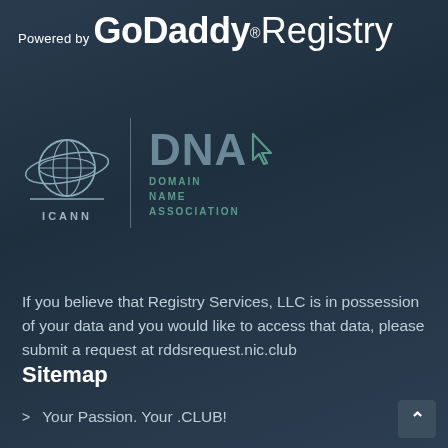Powered by GoDaddy® Registry
[Figure (logo): ICANN globe logo with ICANN text below, vertical divider, and DNA (Domain Name Association) logo with cursor icon]
If you believe that Registry Services, LLC is in possession of your data and you would like to access that data, please submit a request at rddsrequest.nic.club
Sitemap
Your Passion. Your .CLUB!